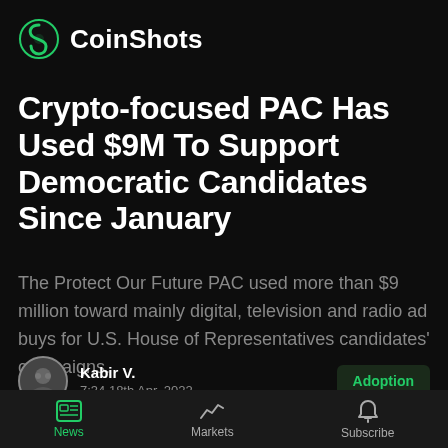CoinShots
Crypto-focused PAC Has Used $9M To Support Democratic Candidates Since January
The Protect Our Future PAC used more than $9 million toward mainly digital, television and radio ad buys for U.S. House of Representatives candidates' campaigns.
Kabir V.
7:34 18th Apr, 2022
Adoption
News  Markets  Subscribe